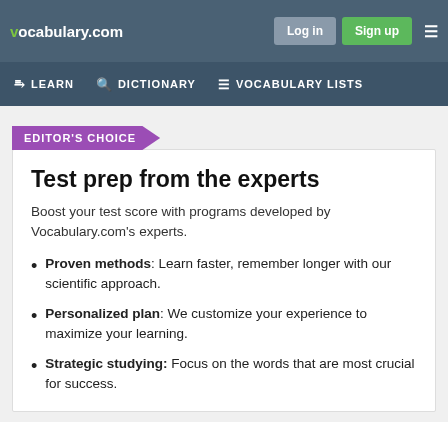vocabulary.com | Log in | Sign up
LEARN  DICTIONARY  VOCABULARY LISTS
EDITOR'S CHOICE
Test prep from the experts
Boost your test score with programs developed by Vocabulary.com's experts.
Proven methods: Learn faster, remember longer with our scientific approach.
Personalized plan: We customize your experience to maximize your learning.
Strategic studying: Focus on the words that are most crucial for success.